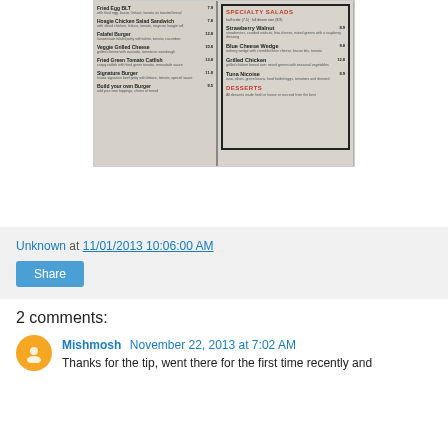[Figure (photo): Photo of a restaurant menu open to two pages: left side shows sandwich/burger items, right side shows Specialty Salads section with items like Strawberry Walnut, Blue Cheese Wedge, Grilled Chicken, Tuna Nicoise, and a Desserts header.]
Unknown at 11/01/2013 10:06:00 AM
Share
2 comments:
Mishmosh November 22, 2013 at 7:02 AM
Thanks for the tip, went there for the first time recently and